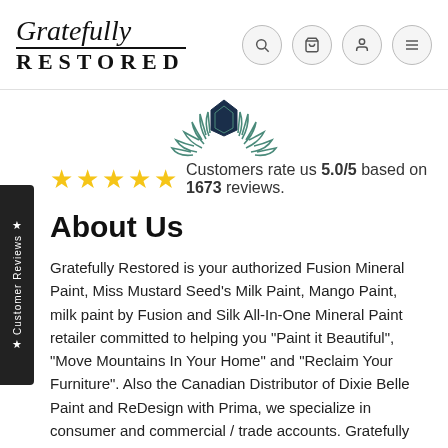[Figure (logo): Gratefully Restored logo with script 'Gratefully' above double-rule line and bold uppercase 'RESTORED' below]
[Figure (illustration): Teal/navy laurel wreath emblem with a shield/crest icon at the top center]
Customers rate us 5.0/5 based on 1673 reviews.
About Us
Gratefully Restored is your authorized Fusion Mineral Paint, Miss Mustard Seed's Milk Paint, Mango Paint, milk paint by Fusion and Silk All-In-One Mineral Paint retailer committed to helping you "Paint it Beautiful", "Move Mountains In Your Home" and "Reclaim Your Furniture". Also the Canadian Distributor of Dixie Belle Paint and ReDesign with Prima, we specialize in consumer and commercial / trade accounts. Gratefully Restored is a small family operated business, serving the Kitchener-Waterloo area and beyond, and committed to being your one-stop destination for all